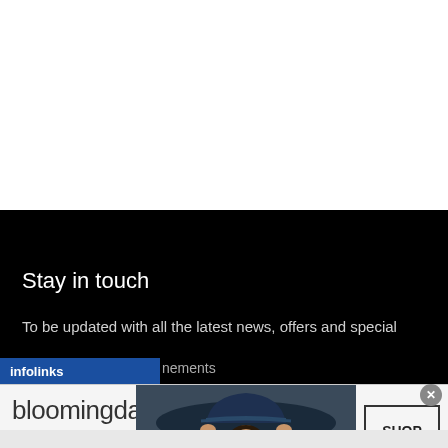Stay in touch
To be updated with all the latest news, offers and special announcements
[Figure (screenshot): Bloomingdales advertisement banner with logo, tagline 'View Today's Top Deals!', image of woman in wide-brim hat, and 'SHOP NOW >' button]
infolinks